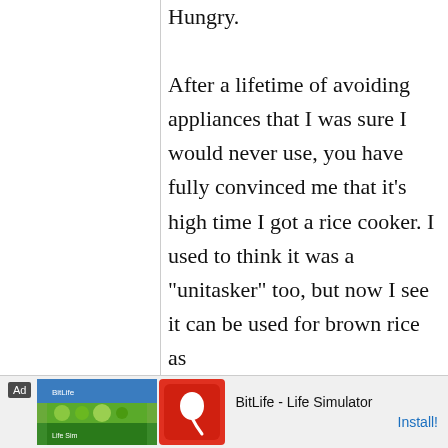Hungry. After a lifetime of avoiding appliances that I was sure I would never use, you have fully convinced me that it's high time I got a rice cooker. I used to think it was a "unitasker" too, but now I see it can be used for brown rice as
[Figure (other): Advertisement banner at the bottom: BitLife - Life Simulator app ad with green and blue images, red sperm icon logo, and Install button.]